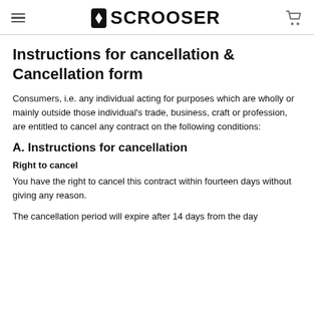SCROOSER
Instructions for cancellation & Cancellation form
Consumers, i.e. any individual acting for purposes which are wholly or mainly outside those individual's trade, business, craft or profession, are entitled to cancel any contract on the following conditions:
A. Instructions for cancellation
Right to cancel
You have the right to cancel this contract within fourteen days without giving any reason.
The cancellation period will expire after 14 days from the day